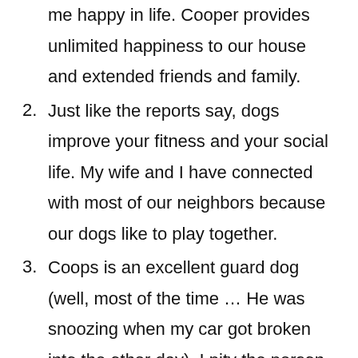me happy in life. Cooper provides unlimited happiness to our house and extended friends and family.
2. Just like the reports say, dogs improve your fitness and your social life. My wife and I have connected with most of our neighbors because our dogs like to play together.
3. Coops is an excellent guard dog (well, most of the time … He was snoozing when my car got broken into the other day). I pity the person who tries to actually break into our house with Cooper on guard.
4. Since my wife and I don't have kids yet, a dog